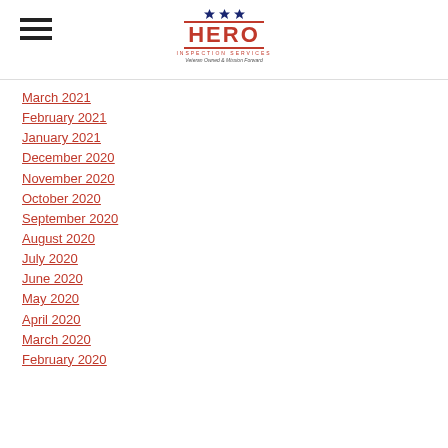Hero Inspection Services logo and hamburger menu
March 2021
February 2021
January 2021
December 2020
November 2020
October 2020
September 2020
August 2020
July 2020
June 2020
May 2020
April 2020
March 2020
February 2020